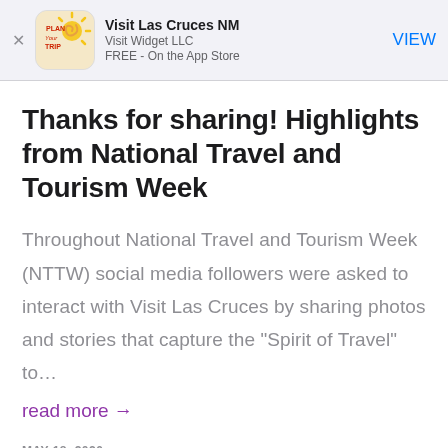Visit Las Cruces NM | Visit Widget LLC | FREE - On the App Store | VIEW
Thanks for sharing! Highlights from National Travel and Tourism Week
Throughout National Travel and Tourism Week (NTTW) social media followers were asked to interact with Visit Las Cruces by sharing photos and stories that capture the "Spirit of Travel" to…
read more →
MAY 18, 2020